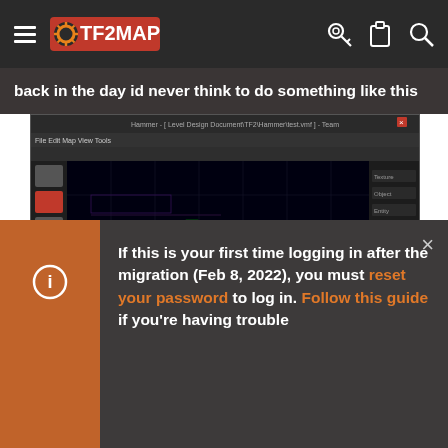TF2MAPS navigation bar with hamburger menu, logo, key icon, clipboard icon, search icon
back in the day id never think to do something like this
[Figure (screenshot): TF2Maps Hammer editor screenshot showing a top-down 2D map layout with colorful brushwork on black background, with side toolbar and right properties panel]
If this is your first time logging in after the migration (Feb 8, 2022), you must reset your password to log in. Follow this guide if you're having trouble